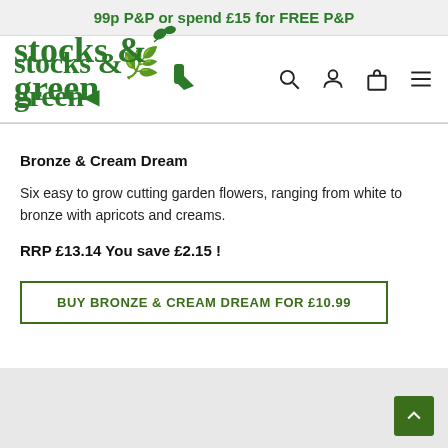99p P&P or spend £15 for FREE P&P
[Figure (logo): Stocks & Green logo in green serif font with leaf/plant icon]
Bronze & Cream Dream
Six easy to grow cutting garden flowers, ranging from white to bronze with apricots and creams.
RRP £13.14 You save £2.15 !
BUY BRONZE & CREAM DREAM FOR £10.99